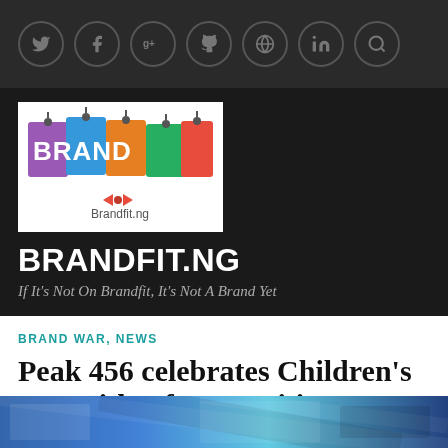Social media icons bar: Twitter, Facebook, Google+, GitHub, WordPress, LinkedIn, Search
[Figure (logo): Brandfit.ng logo — colorful shopping tags spelling BRAND on purple, blue, orange, green, red backgrounds with a bow tie and Brandfit.ng text below]
BRANDFIT.NG
If It's Not On Brandfit, It's Not A Brand Yet
BRAND WAR, NEWS
Peak 456 celebrates Children's Day with a free nutritious breakfast
[Figure (photo): Partial photo at bottom of page — appears to show a blue-themed event or outdoor scene]